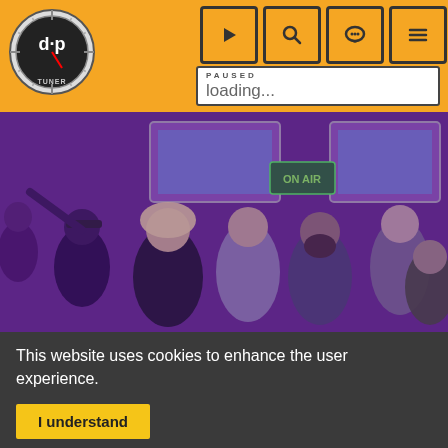d·p TUNER — navigation bar with logo and controls
[Figure (logo): Circular logo with crosshair/target design, letters 'd·p' inside, text 'TUNER' at bottom, on orange background]
[Figure (screenshot): Navigation buttons: play (triangle), search (magnifying glass), chat (speech bubble), menu (hamburger/lines)]
PAUSED
loading...
[Figure (photo): Group photo of approximately 7 people in a room with TV screens and an 'ON AIR' neon sign, image has purple/violet color tint]
This website uses cookies to enhance the user experience.
I understand